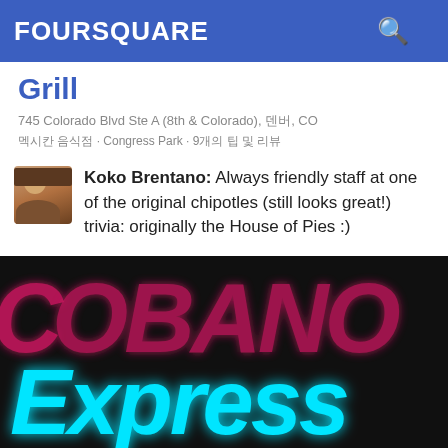FOURSQUARE
Grill
745 Colorado Blvd Ste A (8th & Colorado), 덴버, CO
멕시칸 음식점 · Congress Park · 9개의 팁 및 리뷰
Koko Brentano: Always friendly staff at one of the original chipotles (still looks great!) trivia: originally the House of Pies :)
[Figure (photo): Illuminated neon sign showing 'Express' in cyan/blue neon letters and partial letters above in pink/red neon, against dark background]